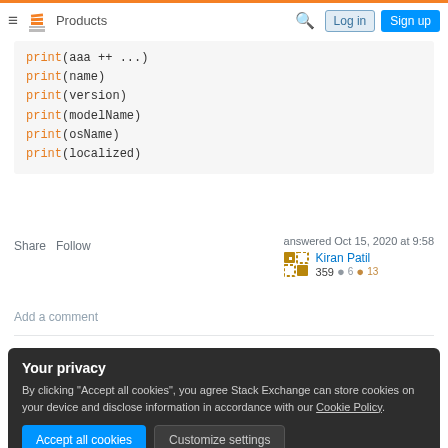≡  [logo] Products  🔍  Log in  Sign up
[Figure (screenshot): Code block showing Python print statements: print(name), print(version), print(modelName), print(osName), print(localized)]
Share  Follow
answered Oct 15, 2020 at 9:58  Kiran Patil  359 ●6 ●13
Add a comment
Your privacy
By clicking "Accept all cookies", you agree Stack Exchange can store cookies on your device and disclose information in accordance with our Cookie Policy.
[Accept all cookies]  [Customize settings]